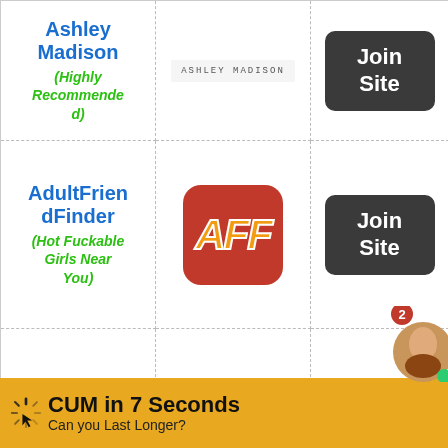| Site Name | Logo | Action |
| --- | --- | --- |
| Ashley Madison (Highly Recommended) | ASHLEY MADISON logo | Join Site |
| AdultFriendFinder (Hot Fuckable Girls Near You) | AFF logo | Join Site |
| Camsoda (Your Hot Virtual Girlfriend) | CamSoda logo | Join Site |
[Figure (infographic): Promotional banner: CUM in 7 Seconds - Can you Last Longer? with cursor icon and chat overlay with female avatar]